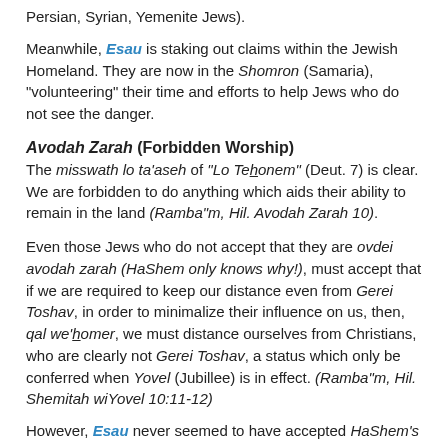Persian, Syrian, Yemenite Jews).
Meanwhile, Esau is staking out claims within the Jewish Homeland. They are now in the Shomron (Samaria), "volunteering" their time and efforts to help Jews who do not see the danger.
Avodah Zarah (Forbidden Worship)
The misswath lo ta'aseh of "Lo Tehonem" (Deut. 7) is clear. We are forbidden to do anything which aids their ability to remain in the land (Ramba"m, Hil. Avodah Zarah 10).
Even those Jews who do not accept that they are ovdei avodah zarah (HaShem only knows why!), must accept that if we are required to keep our distance even from Gerei Toshav, in order to minimalize their influence on us, then, qal we'homer, we must distance ourselves from Christians, who are clearly not Gerei Toshav, a status which only be conferred when Yovel (Jubillee) is in effect. (Ramba"m, Hil. Shemitah wiYovel 10:11-12)
However, Esau never seemed to have accepted HaShem's